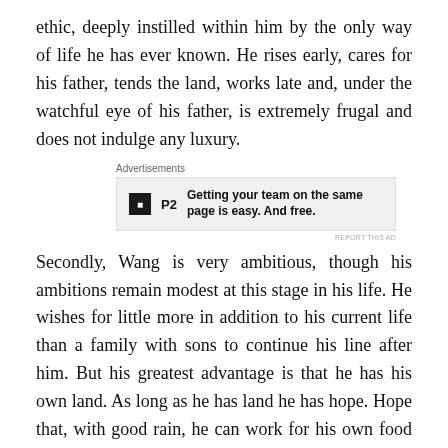ethic, deeply instilled within him by the only way of life he has ever known. He rises early, cares for his father, tends the land, works late and, under the watchful eye of his father, is extremely frugal and does not indulge any luxury.
[Figure (other): Advertisement box with P2 logo and text: 'Getting your team on the same page is easy. And free.']
Secondly, Wang is very ambitious, though his ambitions remain modest at this stage in his life. He wishes for little more in addition to his current life than a family with sons to continue his line after him. But his greatest advantage is that he has his own land. As long as he has land he has hope. Hope that, with good rain, he can work for his own food and avoid starvation. Hope that, if there is a little spare, he can save money as a second security against